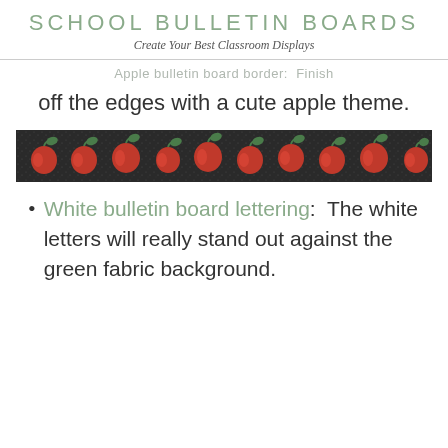SCHOOL BULLETIN BOARDS
Create Your Best Classroom Displays
Apple bulletin board border:  Finish off the edges with a cute apple theme.
[Figure (photo): A decorative bulletin board border featuring red apples on a dark/black glittery background with green leaves.]
White bulletin board lettering:  The white letters will really stand out against the green fabric background.